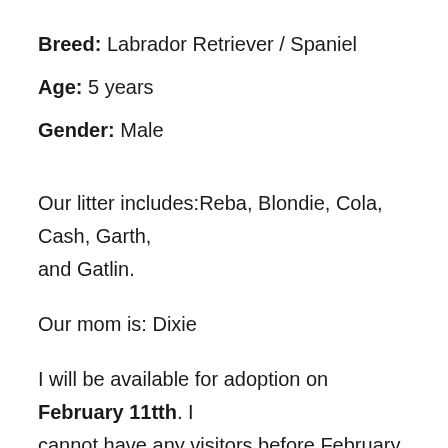Breed: Labrador Retriever / Spaniel
Age: 5 years
Gender: Male
Our litter includes:Reba, Blondie, Cola, Cash, Garth, and Gatlin.
Our mom is: Dixie
I will be available for adoption on February 11tth. I cannot have any visitors before February 11th. You will need to fill out an online application and receive a phone call back from a staff member that